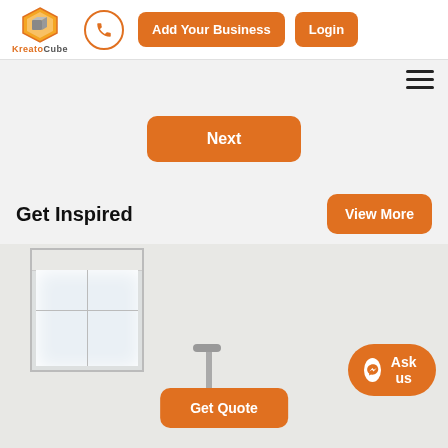[Figure (screenshot): KreatoCube website header with logo, phone icon, Add Your Business and Login buttons]
[Figure (screenshot): Navigation bar with hamburger menu icon on right]
[Figure (screenshot): Next button centered in gray area]
Get Inspired
[Figure (screenshot): View More orange button]
[Figure (photo): Bathroom interior photo with window and faucet, featuring Get Quote button and Ask us messenger button overlay]